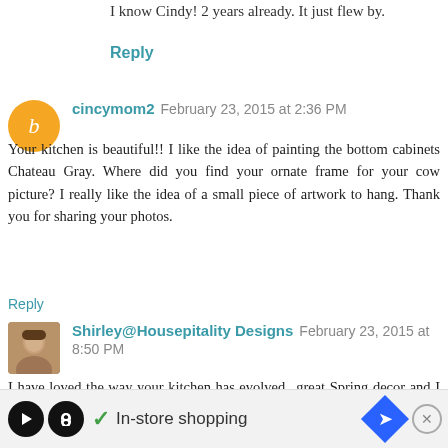I know Cindy! 2 years already. It just flew by.
Reply
cincymom2  February 23, 2015 at 2:36 PM
Your kitchen is beautiful!! I like the idea of painting the bottom cabinets Chateau Gray. Where did you find your ornate frame for your cow picture? I really like the idea of a small piece of artwork to hang. Thank you for sharing your photos.
Reply
Shirley@Housepitality Designs  February 23, 2015 at 8:50 PM
I have loved the way your kitchen has evolved...great Spring decor and I can totally relate to the Christmas decorations situation...Love the cabinets; however, I feel that you should do what you like...knowing you, your home is always evolving and
[Figure (infographic): Ad bar at bottom: black circle with play and infinity icon, green checkmark, text 'In-store shopping', blue diamond with arrow icon, circular X close button]